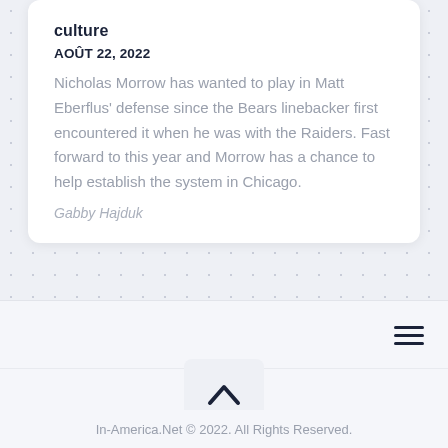culture
AOÛT 22, 2022
Nicholas Morrow has wanted to play in Matt Eberflus' defense since the Bears linebacker first encountered it when he was with the Raiders. Fast forward to this year and Morrow has a chance to help establish the system in Chicago.
Gabby Hajduk
[Figure (other): Hamburger menu icon (three horizontal lines)]
[Figure (other): Scroll-to-top button with upward chevron arrow]
In-America.Net © 2022. All Rights Reserved.